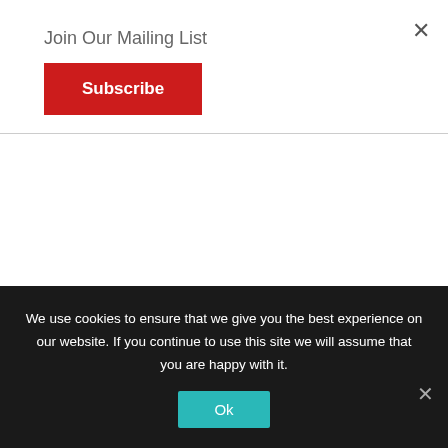Join Our Mailing List
Subscribe
About Deception Island
[Figure (photo): Book cover for 'Deception Island' by Elizabeth Lewis Williams, black background with white text and abstract black and white photographic image below]
Welcome to Deception Island, a tiny Volcanic caldera in the Antarctic Ocean...
We use cookies to ensure that we give you the best experience on our website. If you continue to use this site we will assume that you are happy with it.
Ok